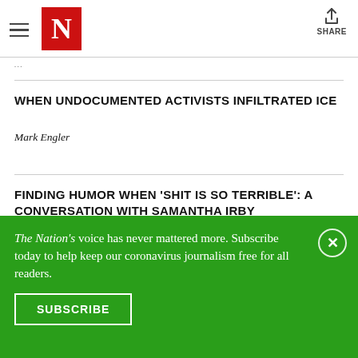The Nation — N logo, hamburger menu, share button
…
WHEN UNDOCUMENTED ACTIVISTS INFILTRATED ICE
Mark Engler
FINDING HUMOR WHEN 'SHIT IS SO TERRIBLE': A CONVERSATION WITH SAMANTHA IRBY
Rima Parikh
The Nation's voice has never mattered more. Subscribe today to help keep our coronavirus journalism free for all readers.
SUBSCRIBE